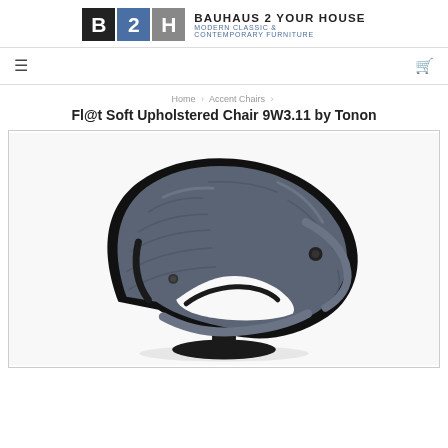[Figure (logo): Bauhaus 2 Your House logo with three colored squares (B in black, 2 in blue, H in gray) and text 'BAUHAUS 2 YOUR HOUSE / MODERN CLASSIC & CONTEMPORARY FURNITURE']
≡  🛒
Home › Accent Chairs ›
Fl@t Soft Upholstered Chair 9W3.11 by Tonon
[Figure (photo): Photo of a modern upholstered accent chair with curved dark blue/gray fabric and black bentwood shell frame, shown from an angle]